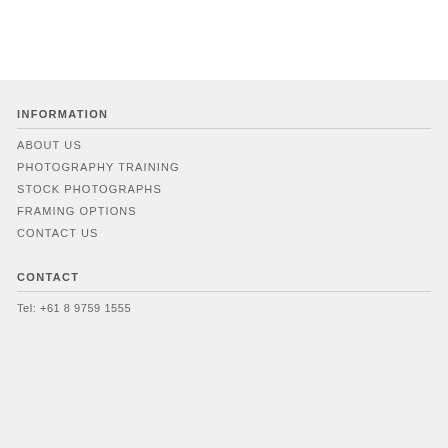INFORMATION
ABOUT US
PHOTOGRAPHY TRAINING
STOCK PHOTOGRAPHS
FRAMING OPTIONS
CONTACT US
CONTACT
Tel: +61 8 9759 1555